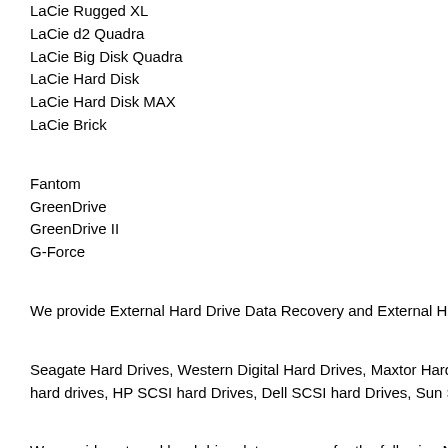LaCie Rugged XL
LaCie d2 Quadra
LaCie Big Disk Quadra
LaCie Hard Disk
LaCie Hard Disk MAX
LaCie Brick
Fantom
GreenDrive
GreenDrive II
G-Force
We provide External Hard Drive Data Recovery and External Hard Drive
Seagate Hard Drives, Western Digital Hard Drives, Maxtor Hard Drives, S hard drives, HP SCSI hard Drives, Dell SCSI hard Drives, Sun SCSI Driv
We provide external hard drive data recovery for the following NAS NNET
Visionman Vision Vault network data storage devices